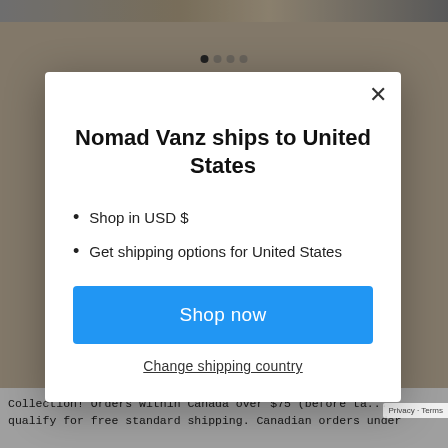[Figure (screenshot): Background webpage with product photos and a modal overlay dialog]
Nomad Vanz ships to United States
Shop in USD $
Get shipping options for United States
Shop now
Change shipping country
Collection! Orders within Canada over $75 (before ta... qualify for free standard shipping. Canadian orders under